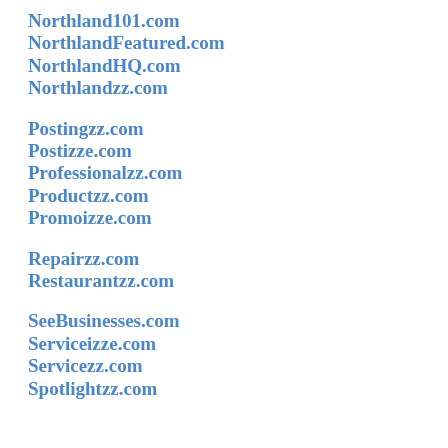Northland101.com
NorthlandFeatured.com
NorthlandHQ.com
Northlandzz.com
Postingzz.com
Postizze.com
Professionalzz.com
Productzz.com
Promoizze.com
Repairzz.com
Restaurantzz.com
SeeBusinesses.com
Serviceizze.com
Servicezz.com
Spotlightzz.com